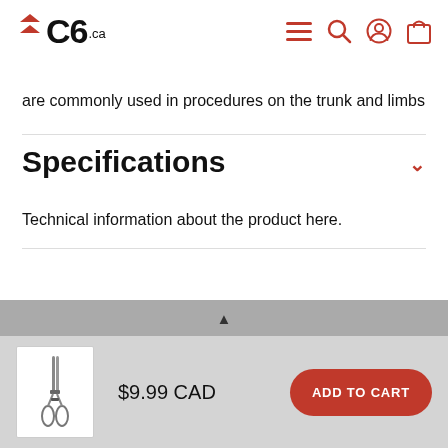C6.ca
are commonly used in procedures on the trunk and limbs
Specifications
Technical information about the product here.
You may also like
[Figure (photo): Product thumbnail image of surgical hemostat clamp/forceps]
$9.99 CAD
ADD TO CART